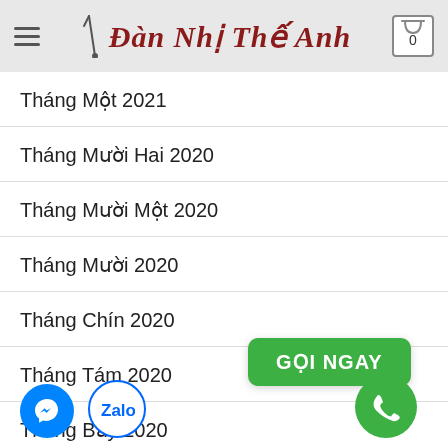Đàn Nhị Thế Anh
Tháng Một 2021
Tháng Mười Hai 2020
Tháng Mười Một 2020
Tháng Mười 2020
Tháng Chín 2020
Tháng Tám 2020
Tháng Bảy 2020
Tháng Sáu 2020
Tháng Năm 2020
Tháng Tư 2020